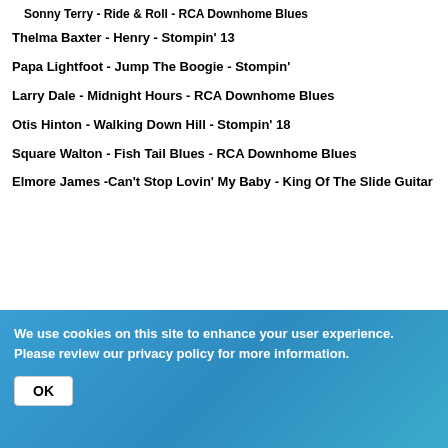Sonny Terry - Ride & Roll - RCA Downhome Blues
Thelma Baxter - Henry - Stompin' 13
Papa Lightfoot - Jump The Boogie - Stompin'
Larry Dale - Midnight Hours - RCA Downhome Blues
Otis Hinton - Walking Down Hill - Stompin' 18
Square Walton - Fish Tail Blues - RCA Downhome Blues
Elmore James -Can't Stop Lovin' My Baby - King Of The Slide Guitar
We use cookies on this site to enhance your user experience. Please review our privacy policy for more information.